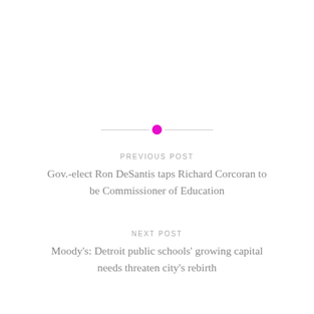[Figure (other): Horizontal divider line with a magenta circle in the center]
PREVIOUS POST
Gov.-elect Ron DeSantis taps Richard Corcoran to be Commissioner of Education
NEXT POST
Moody's: Detroit public schools' growing capital needs threaten city's rebirth